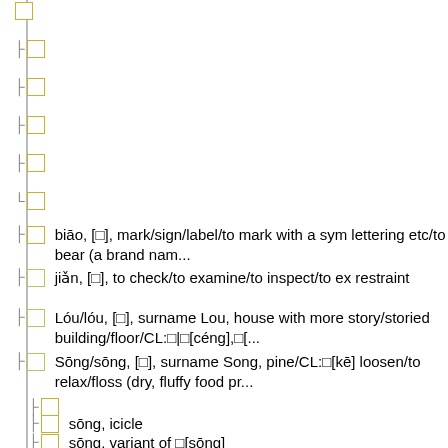□
□
□
□
□
□
biāo, [□], mark/sign/label/to mark with a sym lettering etc/to bear (a brand nam...
jiǎn, [□], to check/to examine/to inspect/to ex restraint
Lóu/lóu, [□], surname Lou, house with more story/storied building/floor/CL:□|□[céng],□[...
Sōng/sōng, [□], surname Song, pine/CL:□[kē] loosen/to relax/floss (dry, fluffy food pr...
□
sōng, icicle
sōng, variant of □[sōng]
Sōng/sōng, name of a river in Jiangsu Prov...